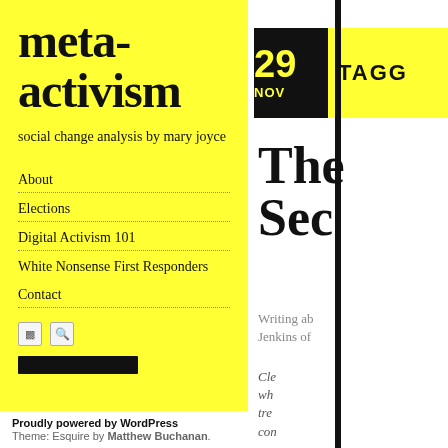meta-activism
social change analysis by mary joyce
About
Elections
Digital Activism 101
White Nonsense First Responders
Contact
Proudly powered by WordPress
Theme: Esquire by Matthew Buchanan.
29 NOV
TAGG
The Sec
Writing ab Jenkins of
Cle wh tre con